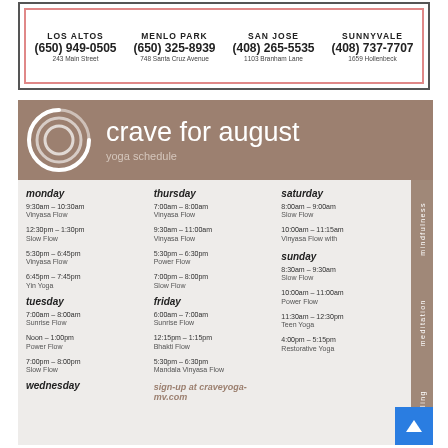| LOS ALTOS | MENLO PARK | SAN JOSE | SUNNYVALE |
| --- | --- | --- | --- |
| (650) 949-0505 | (650) 325-8939 | (408) 265-5535 | (408) 737-7707 |
| 243 Main Street | 748 Santa Cruz Avenue | 1103 Branham Lane | 1659 Hollenbeck |
crave for august
yoga schedule
monday
9:30am – 10:30am Vinyasa Flow
12:30pm – 1:30pm Slow Flow
5:30pm – 6:45pm Vinyasa Flow
6:45pm – 7:45pm Yin Yoga
tuesday
7:00am – 8:00am Sunrise Flow
Noon – 1:00pm Power Flow
7:00pm – 8:00pm Slow Flow
wednesday
thursday
7:00am – 8:00am Vinyasa Flow
9:30am – 11:00am Vinyasa Flow
5:30pm – 6:30pm Power Flow
7:00pm – 8:00pm Slow Flow
friday
6:00am – 7:00am Sunrise Flow
12:15pm – 1:15pm Bhakti Flow
5:30pm – 6:30pm Mandala Vinyasa Flow
sign-up at craveyoga-mv.com
saturday
8:00am – 9:00am Slow Flow
10:00am – 11:15am Vinyasa Flow with
sunday
8:30am – 9:30am Slow Flow
10:00am – 11:00am Power Flow
11:30am – 12:30pm Teen Yoga
4:00pm – 5:15pm Restorative Yoga